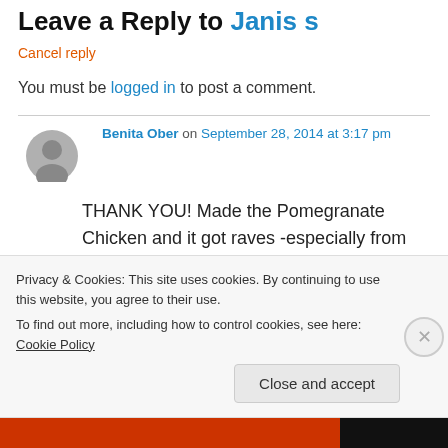Leave a Reply to Janis s
Cancel reply
You must be logged in to post a comment.
Benita Ober on September 28, 2014 at 3:17 pm
THANK YOU! Made the Pomegranate Chicken and it got raves -especially from my gluten-free friend! Happy 5775! Benita – NC
Like
Privacy & Cookies: This site uses cookies. By continuing to use this website, you agree to their use.
To find out more, including how to control cookies, see here: Cookie Policy
Close and accept